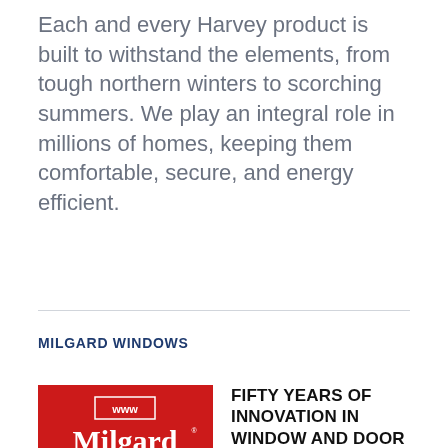Each and every Harvey product is built to withstand the elements, from tough northern winters to scorching summers. We play an integral role in millions of homes, keeping them comfortable, secure, and energy efficient.
MILGARD WINDOWS
[Figure (logo): Milgard Windows & Doors logo: white text on red background with 'Milgard' in large serif font, 'WINDOWS & DOORS' below, and 'www' motif above.]
FIFTY YEARS OF INNOVATION IN WINDOW AND DOOR MANUFACTURING
In 1958, Maurice Milgard, Jr. and his son Gary started Milgard Glass Company in a small building in Tacoma